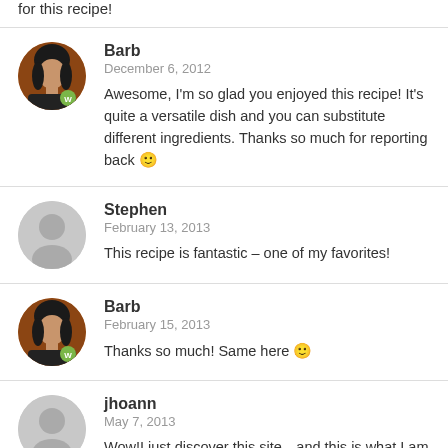for this recipe!
Barb
December 6, 2012
Awesome, I'm so glad you enjoyed this recipe! It's quite a versatile dish and you can substitute different ingredients. Thanks so much for reporting back 🙂
Stephen
February 13, 2013
This recipe is fantastic – one of my favorites!
Barb
February 15, 2013
Thanks so much! Same here 🙂
jhoann
May 7, 2013
Wow!I just discover this site…and this is what I am making tonight for my employer's dinner…I read about